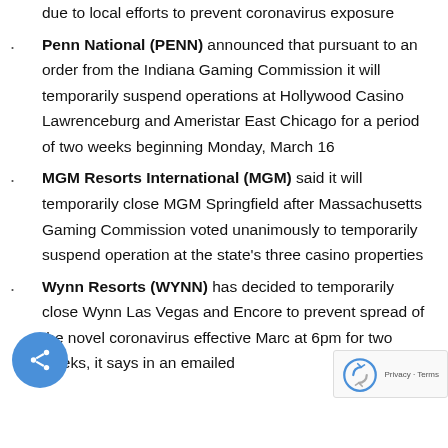due to local efforts to prevent coronavirus exposure
Penn National (PENN) announced that pursuant to an order from the Indiana Gaming Commission it will temporarily suspend operations at Hollywood Casino Lawrenceburg and Ameristar East Chicago for a period of two weeks beginning Monday, March 16
MGM Resorts International (MGM) said it will temporarily close MGM Springfield after Massachusetts Gaming Commission voted unanimously to temporarily suspend operation at the state's three casino properties
Wynn Resorts (WYNN) has decided to temporarily close Wynn Las Vegas and Encore to prevent spread of the novel coronavirus effective Marc at 6pm for two weeks, it says in an emailed